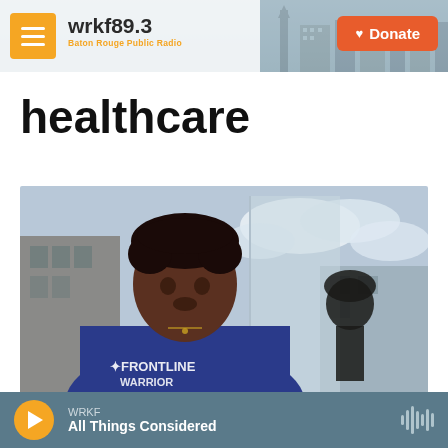wrkf89.3 Baton Rouge Public Radio — Donate
healthcare
[Figure (photo): Young Black man wearing a blue FRONTLINE WARRIOR t-shirt, standing outside in front of a building with a cloudy sky. A statue silhouette is visible to his right.]
WRKF — All Things Considered